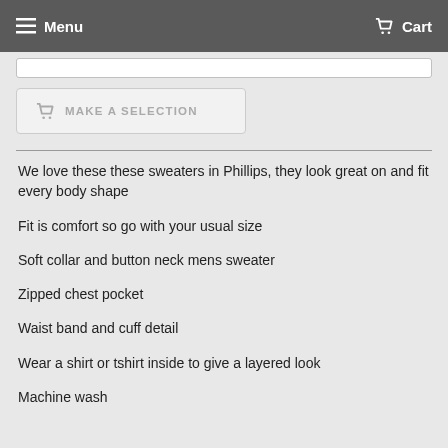Menu  Cart
MAKE A SELECTION
We love these these sweaters in Phillips, they look great on and fit every body shape
Fit is comfort so go with your usual size
Soft collar and button neck mens sweater
Zipped chest pocket
Waist band and cuff detail
Wear a shirt or tshirt inside to give a layered look
Machine wash